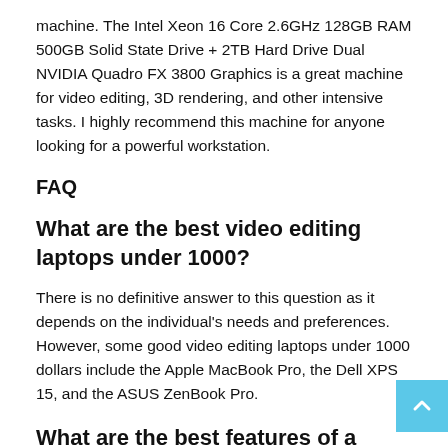machine. The Intel Xeon 16 Core 2.6GHz 128GB RAM 500GB Solid State Drive + 2TB Hard Drive Dual NVIDIA Quadro FX 3800 Graphics is a great machine for video editing, 3D rendering, and other intensive tasks. I highly recommend this machine for anyone looking for a powerful workstation.
FAQ
What are the best video editing laptops under 1000?
There is no definitive answer to this question as it depends on the individual's needs and preferences. However, some good video editing laptops under 1000 dollars include the Apple MacBook Pro, the Dell XPS 15, and the ASUS ZenBook Pro.
What are the best features of a video